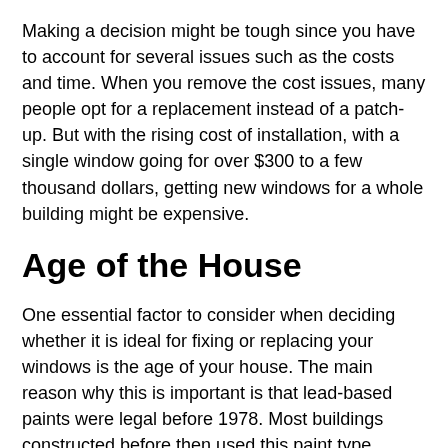Making a decision might be tough since you have to account for several issues such as the costs and time. When you remove the cost issues, many people opt for a replacement instead of a patch-up. But with the rising cost of installation, with a single window going for over $300 to a few thousand dollars, getting new windows for a whole building might be expensive.
Age of the House
One essential factor to consider when deciding whether it is ideal for fixing or replacing your windows is the age of your house. The main reason why this is important is that lead-based paints were legal before 1978. Most buildings constructed before then used this paint type. However, it can be problematic because lead dust is often released into the air when opening old windows causing lead poisoning, especially in young children. When dealing with such a house,